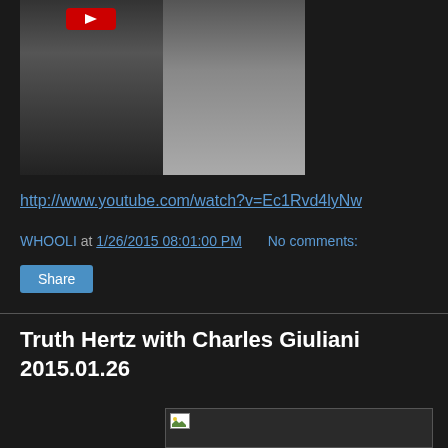[Figure (screenshot): Video thumbnail showing two people side by side with a red play button at the top]
http://www.youtube.com/watch?v=Ec1Rvd4lyNw
WHOOLI at 1/26/2015 08:01:00 PM   No comments:
Share
Truth Hertz with Charles Giuliani 2015.01.26
[Figure (photo): Broken/missing image placeholder with small icon]